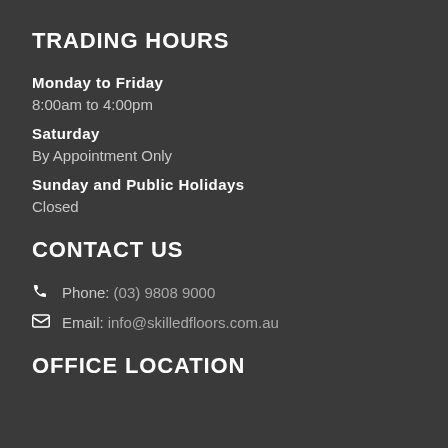TRADING HOURS
Monday to Friday
8:00am to 4:00pm
Saturday
By Appointment Only
Sunday and Public Holidays
Closed
CONTACT US
Phone: (03) 9808 9000
Email: info@skilledfloors.com.au
OFFICE LOCATION